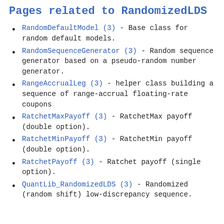Pages related to RandomizedLDS
RandomDefaultModel (3) - Base class for random default models.
RandomSequenceGenerator (3) - Random sequence generator based on a pseudo-random number generator.
RangeAccrualLeg (3) - helper class building a sequence of range-accrual floating-rate coupons
RatchetMaxPayoff (3) - RatchetMax payoff (double option).
RatchetMinPayoff (3) - RatchetMin payoff (double option).
RatchetPayoff (3) - Ratchet payoff (single option).
QuantLib_RandomizedLDS (3) - Randomized (random shift) low-discrepancy sequence...